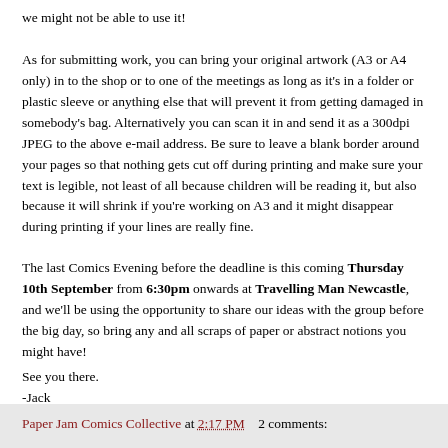we might not be able to use it!
As for submitting work, you can bring your original artwork (A3 or A4 only) in to the shop or to one of the meetings as long as it's in a folder or plastic sleeve or anything else that will prevent it from getting damaged in somebody's bag. Alternatively you can scan it in and send it as a 300dpi JPEG to the above e-mail address. Be sure to leave a blank border around your pages so that nothing gets cut off during printing and make sure your text is legible, not least of all because children will be reading it, but also because it will shrink if you're working on A3 and it might disappear during printing if your lines are really fine.
The last Comics Evening before the deadline is this coming Thursday 10th September from 6:30pm onwards at Travelling Man Newcastle, and we'll be using the opportunity to share our ideas with the group before the big day, so bring any and all scraps of paper or abstract notions you might have!
See you there.
-Jack
Paper Jam Comics Collective at 2:17 PM    2 comments: